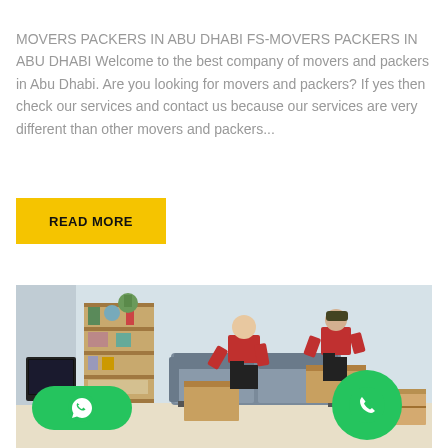MOVERS PACKERS IN ABU DHABI FS-MOVERS PACKERS IN ABU DHABI Welcome to the best company of movers and packers in Abu Dhabi. Are you looking for movers and packers? If yes then check our services and contact us because our services are very different than other movers and packers...
READ MORE
[Figure (photo): Two movers in red shirts packing cardboard boxes in a living room with a bookshelf, sofa, and TV. WhatsApp and phone call buttons overlay the bottom of the image.]